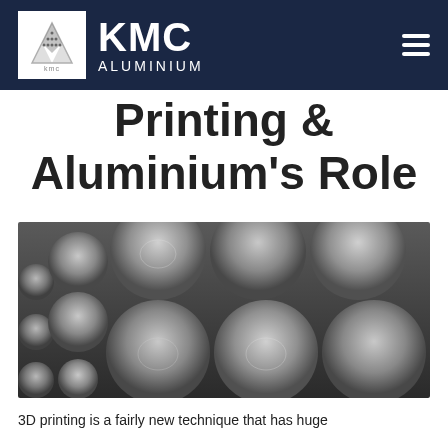KMC ALUMINIUM
Printing & Aluminium's Role
[Figure (photo): Stack of cylindrical aluminium billets/rods, viewed from the side, showing circular cross-sections in silver-grey tones.]
3D printing is a fairly new technique that has huge